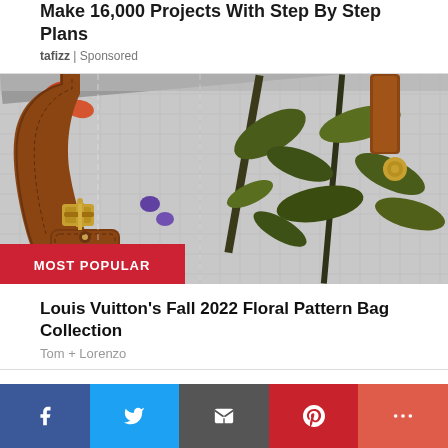Make 16,000 Projects With Step By Step Plans
tafizz | Sponsored
[Figure (photo): Close-up of a Louis Vuitton floral pattern bag with brown leather straps and gold hardware, featuring botanical print on silver-grey canvas]
Louis Vuitton's Fall 2022 Floral Pattern Bag Collection
Tom + Lorenzo
[Figure (infographic): Social media sharing bar with Facebook (blue), Twitter (light blue), Email (dark grey), Pinterest (red), and More (orange-red) buttons]